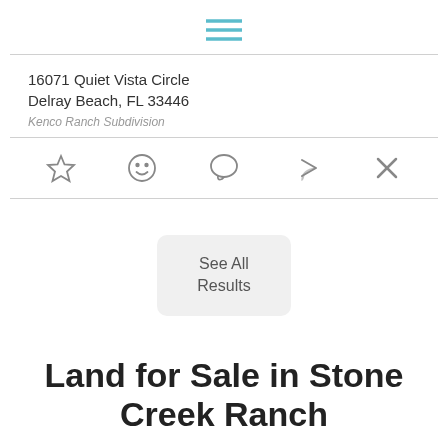[Figure (other): Hamburger menu icon (three horizontal teal lines)]
16071 Quiet Vista Circle
Delray Beach, FL 33446
Kenco Ranch Subdivision
[Figure (other): Row of action icons: star (favorite), smiley face, speech bubble (comment), share arrow, close X]
See All Results
Land for Sale in Stone Creek Ranch